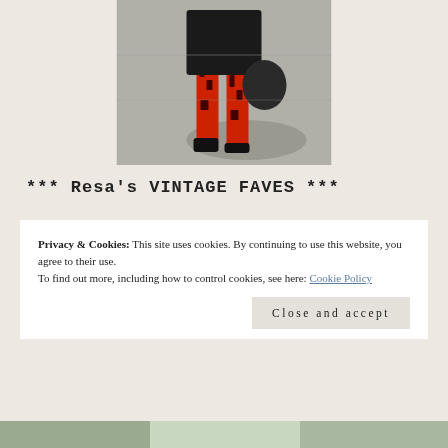[Figure (photo): Street style photo showing person from behind wearing red patterned leggings and black top, carrying a black bag, walking on a sidewalk]
*** Resa's VINTAGE FAVES ***
Privacy & Cookies: This site uses cookies. By continuing to use this website, you agree to their use.
To find out more, including how to control cookies, see here: Cookie Policy
Close and accept
[Figure (photo): Bottom strip showing partial view of another image]